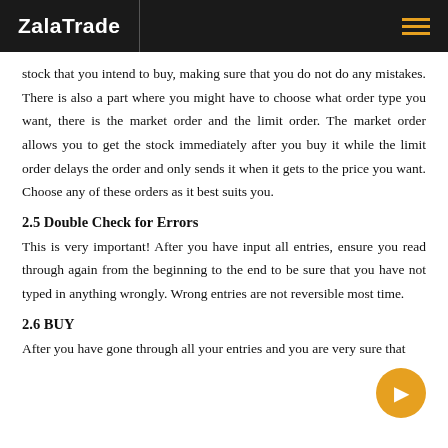ZalaTrade
stock that you intend to buy, making sure that you do not do any mistakes. There is also a part where you might have to choose what order type you want, there is the market order and the limit order. The market order allows you to get the stock immediately after you buy it while the limit order delays the order and only sends it when it gets to the price you want. Choose any of these orders as it best suits you.
2.5 Double Check for Errors
This is very important! After you have input all entries, ensure you read through again from the beginning to the end to be sure that you have not typed in anything wrongly. Wrong entries are not reversible most time.
2.6 BUY
After you have gone through all your entries and you are very sure that